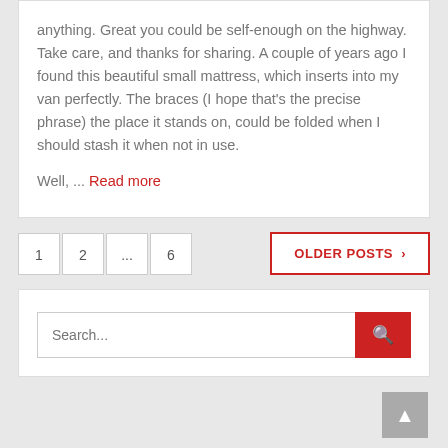anything. Great you could be self-enough on the highway. Take care, and thanks for sharing. A couple of years ago I found this beautiful small mattress, which inserts into my van perfectly. The braces (I hope that's the precise phrase) the place it stands on, could be folded when I should stash it when not in use.
Well, ... Read more
1
2
...
6
OLDER POSTS ›
Search...